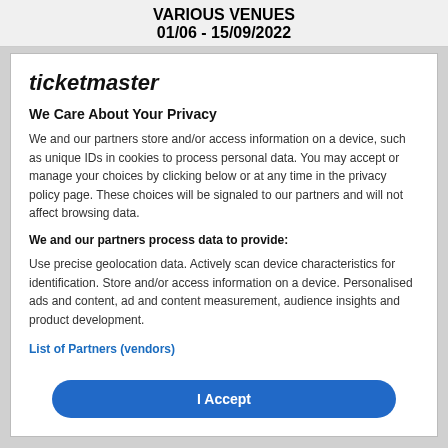VARIOUS VENUES
01/06 - 15/09/2022
ticketmaster
We Care About Your Privacy
We and our partners store and/or access information on a device, such as unique IDs in cookies to process personal data. You may accept or manage your choices by clicking below or at any time in the privacy policy page. These choices will be signaled to our partners and will not affect browsing data.
We and our partners process data to provide:
Use precise geolocation data. Actively scan device characteristics for identification. Store and/or access information on a device. Personalised ads and content, ad and content measurement, audience insights and product development.
List of Partners (vendors)
I Accept